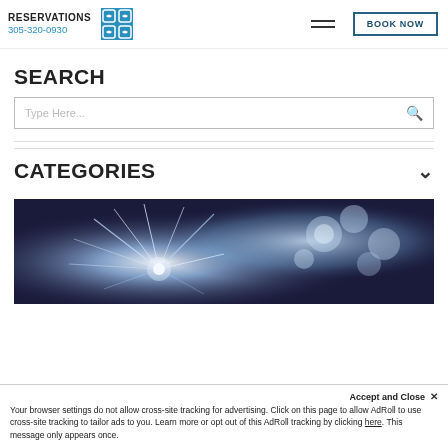RESERVATIONS 305-320-0930
SEARCH
CATEGORIES
[Figure (photo): Dark photograph showing fireworks or sparks exploding with light streaks and flower-like bursts against a dark sky, partially visible at bottom of page]
Accept and Close ✕ Your browser settings do not allow cross-site tracking for advertising. Click on this page to allow AdRoll to use cross-site tracking to tailor ads to you. Learn more or opt out of this AdRoll tracking by clicking here. This message only appears once.